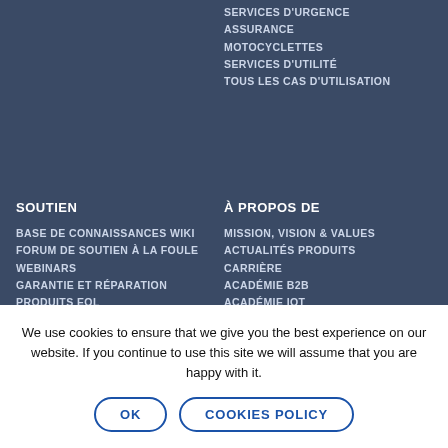SERVICES D'URGENCE
ASSURANCE MOTOCYCLETTES
SERVICES D'UTILITÉ
TOUS LES CAS D'UTILISATION
SOUTIEN
BASE DE CONNAISSANCES WIKI
FORUM DE SOUTIEN À LA FOULE
WEBINARS
GARANTIE ET RÉPARATION
PRODUITS EOL
À PROPOS DE
MISSION, VISION & VALUES
ACTUALITÉS PRODUITS
CARRIÈRE
ACADÉMIE B2B
ACADÉMIE IoT
POLITIQUES ET CERTIFICATS
CONTACTS
PRODUITS EOL
BULLETIN
We use cookies to ensure that we give you the best experience on our website. If you continue to use this site we will assume that you are happy with it.
OK   COOKIES POLICY